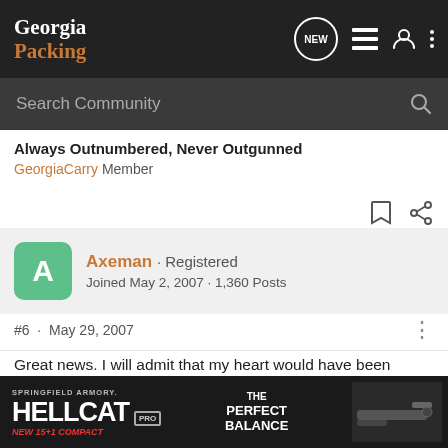Georgia Packing
Search Community
Always Outnumbered, Never Outgunned
GeorgiaCarry Member
Axeman · Registered
Joined May 2, 2007 · 1,360 Posts
#6 · May 29, 2007
Great news. I will admit that my heart would have been pumpin' pretty good.

I am always wondering when I am carrying, if I missed some school o... ... IC when I settle o... ...ime to
[Figure (screenshot): Springfield Armory Hellcat Pro advertisement banner at bottom of page]